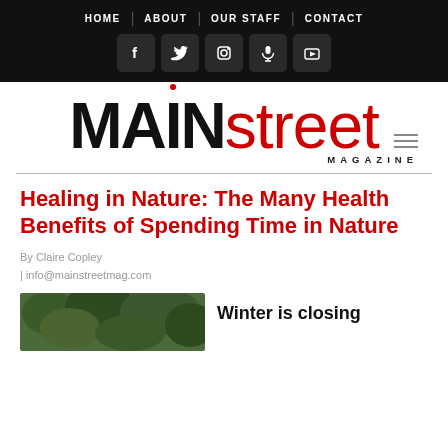HOME | ABOUT | OUR STAFF | CONTACT
[Figure (screenshot): Social media icons: Facebook, Twitter, Instagram, Microphone, YouTube]
[Figure (logo): MAINstreet MAGAZINE logo with red dot over the i and red colored street text]
Healing in Nature: The Many Health Benefits of Spending Time in Nature
By Claire Copley
| info@mainstreetmag.com
[Figure (photo): Partial photo of trees/nature scene at bottom left]
Winter is closing